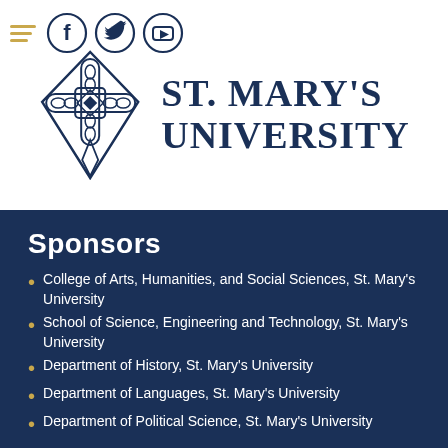[Figure (logo): Social media icons: hamburger menu, Facebook, Twitter, YouTube circles in navy blue]
[Figure (logo): St. Mary's University logo with ornate navy blue cross emblem and text ST. MARY'S UNIVERSITY]
Sponsors
College of Arts, Humanities, and Social Sciences, St. Mary's University
School of Science, Engineering and Technology, St. Mary's University
Department of History, St. Mary's University
Department of Languages, St. Mary's University
Department of Political Science, St. Mary's University